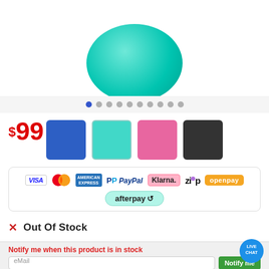[Figure (photo): Teal/turquoise round ball product image cropped at top of page]
$ 99
[Figure (infographic): Color swatches: blue, teal, pink, dark/black]
[Figure (infographic): Payment method logos: VISA, Mastercard, American Express, PayPal, Klarna, Zip, Openpay, Afterpay]
✕ Out Of Stock
Notify me when this product is in stock
eMail
Notify me